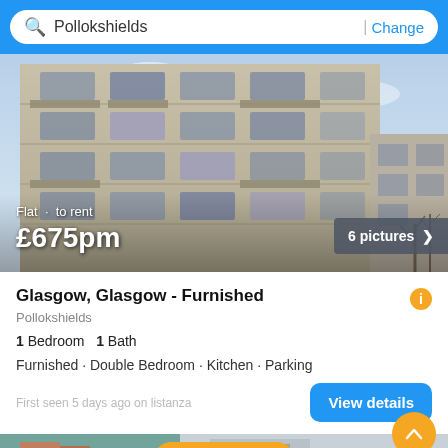Pollokshields | Change
[Figure (photo): Exterior photo of a multi-storey apartment block (beige/tan facade with balconies and windows), sky background with bare trees. Overlay text: 'Flat · to rent £675pm'. Button: '6 pictures >']
Glasgow, Glasgow - Furnished
Pollokshields
1 Bedroom   1 Bath
Furnished · Double Bedroom · Kitchen · Parking
First seen 5 days ago on listanza
View details
[Figure (photo): Bottom strip showing partial property images on left and right sides, with a yellow Filter button in the center]